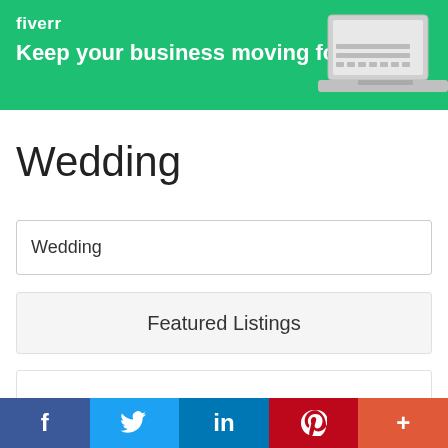[Figure (screenshot): Fiverr advertisement banner with green background, Fiverr logo text, headline 'Keep your business moving forward', and a laptop image on the right.]
Wedding
Wedding
Featured Listings
f  (Twitter bird)  in  P  +